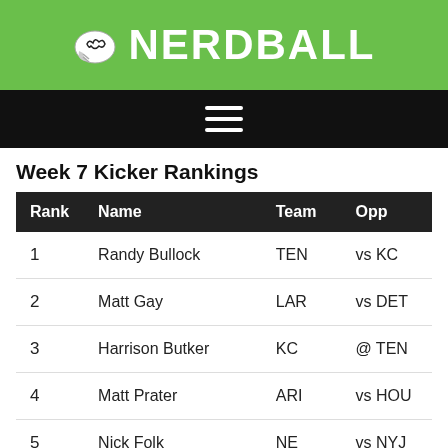[Figure (logo): Nerdball logo with football helmet icon and text NERDBALL on green background]
[Figure (other): Hamburger menu icon (three horizontal white lines) on black background]
Week 7 Kicker Rankings
| Rank | Name | Team | Opp |
| --- | --- | --- | --- |
| 1 | Randy Bullock | TEN | vs KC |
| 2 | Matt Gay | LAR | vs DET |
| 3 | Harrison Butker | KC | @ TEN |
| 4 | Matt Prater | ARI | vs HOU |
| 5 | Nick Folk | NE | vs NYJ |
| 6 | Daniel Carlson | LV | vs PHI |